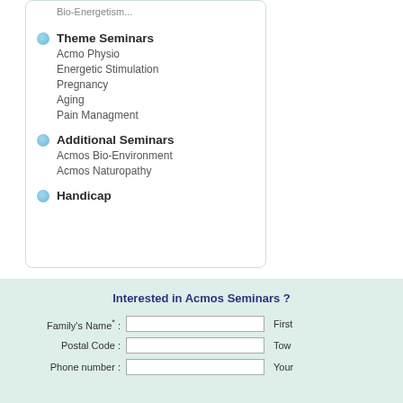Theme Seminars
Acmo Physio
Energetic Stimulation
Pregnancy
Aging
Pain Managment
Additional Seminars
Acmos Bio-Environment
Acmos Naturopathy
Handicap
Interested in Acmos Seminars ?
Family's Name* :
First
Postal Code :
Tow
Phone number :
Your